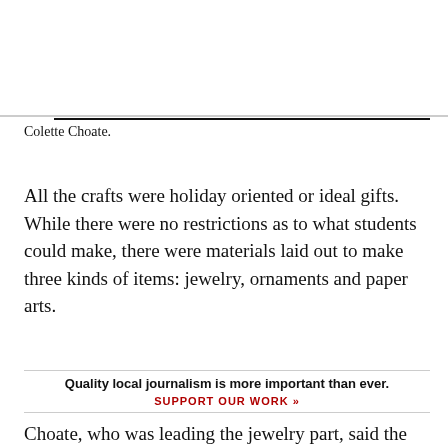hours crafting.
Homer, Alaska
Homer News
[Figure (other): Cloud weather icon]
52°F
The Flex Craft Fair is “about creating a handmade gift for a loved one or yo
[Figure (other): Search magnifying glass icon with SEARCH label]
Colette Choate.
All the crafts were holiday oriented or ideal gifts. While there were no restrictions as to what students could make, there were materials laid out to make three kinds of items: jewelry, ornaments and paper arts.
Quality local journalism is more important than ever.
SUPPORT OUR WORK »
Choate, who was leading the jewelry part, said the most satisfying aspect of making jewelry is “finding the perfect combination of colors of shapes for the piece.”